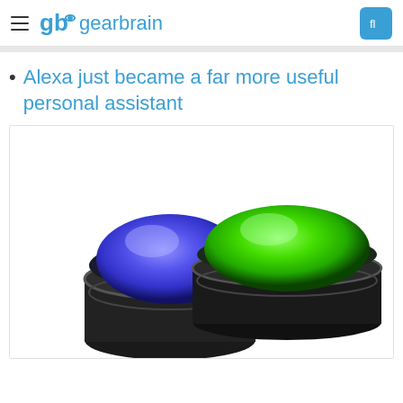gb gearbrain
Alexa just became a far more useful personal assistant
[Figure (photo): Two Amazon Dash buttons — one blue (left, taller) and one green (right, shorter) — against a white background inside a bordered image box.]